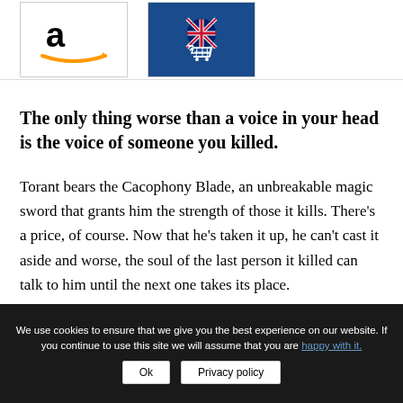[Figure (logo): Amazon logo with orange smile/arrow]
[Figure (logo): UK shopping cart icon on blue background with Union Jack flag]
The only thing worse than a voice in your head is the voice of someone you killed.
Torant bears the Cacophony Blade, an unbreakable magic sword that grants him the strength of those it kills. There’s a price, of course. Now that he’s taken it up, he can’t cast it aside and worse, the soul of the last person it killed can talk to him until the next one takes its place.
We use cookies to ensure that we give you the best experience on our website. If you continue to use this site we will assume that you are happy with it. Ok | Privacy policy